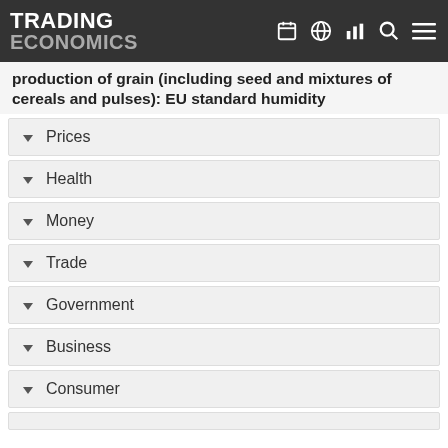TRADING ECONOMICS
production of grain (including seed and mixtures of cereals and pulses): EU standard humidity
Prices
Health
Money
Trade
Government
Business
Consumer